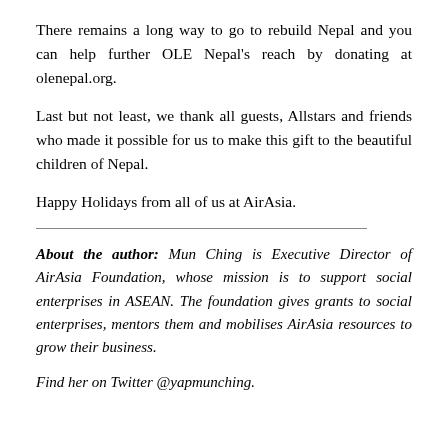There remains a long way to go to rebuild Nepal and you can help further OLE Nepal's reach by donating at olenepal.org.
Last but not least, we thank all guests, Allstars and friends who made it possible for us to make this gift to the beautiful children of Nepal.
Happy Holidays from all of us at AirAsia.
About the author: Mun Ching is Executive Director of AirAsia Foundation, whose mission is to support social enterprises in ASEAN. The foundation gives grants to social enterprises, mentors them and mobilises AirAsia resources to grow their business.
Find her on Twitter @yapmunching.